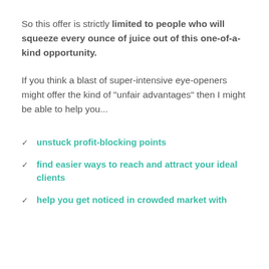So this offer is strictly limited to people who will squeeze every ounce of juice out of this one-of-a-kind opportunity.
If you think a blast of super-intensive eye-openers might offer the kind of "unfair advantages" then I might be able to help you...
unstuck profit-blocking points
find easier ways to reach and attract your ideal clients
help you get noticed in crowded market with